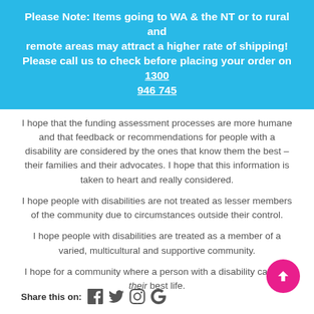Please Note: Items going to WA & the NT or to rural and remote areas may attract a higher rate of shipping! Please call us to check before placing your order on 1300 946 745
I hope that the funding assessment processes are more humane and that feedback or recommendations for people with a disability are considered by the ones that know them the best – their families and their advocates. I hope that this information is taken to heart and really considered.
I hope people with disabilities are not treated as lesser members of the community due to circumstances outside their control.
I hope people with disabilities are treated as a member of a varied, multicultural and supportive community.
I hope for a community where a person with a disability can live their best life.
Share this on: